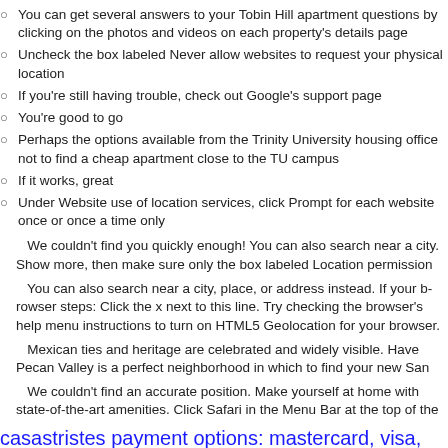You can get several answers to your Tobin Hill apartment questions by clicking on the photos and videos on each property's details page
Uncheck the box labeled Never allow websites to request your physical location
If you're still having trouble, check out Google's support page
You're good to go
Perhaps the options available from the Trinity University housing office no to find a cheap apartment close to the TU campus
If it works, great
Under Website use of location services, click Prompt for each website once or once a time only
We couldn't find you quickly enough! You can also search near a city. Show more, then make sure only the box labeled Location permission
You can also search near a city, place, or address instead. If your browser steps: Click the x next to this line. Try checking the browser's help me instructions to turn on HTML5 Geolocation for your browser.
Mexican ties and heritage are celebrated and widely visible. Have Pecan Valley is a perfect neighborhood in which to find your new San
We couldn't find an accurate position. Make yourself at home with state-of-the-art amenities. Click Safari in the Menu Bar at the top of the
casastristes payment options: mastercard, visa, ach echeck, prescription buy cheapest